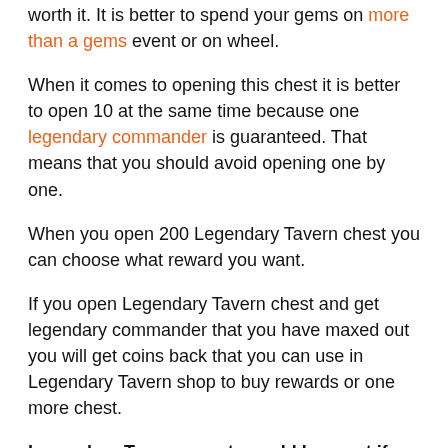worth it. It is better to spend your gems on more than a gems event or on wheel.
When it comes to opening this chest it is better to open 10 at the same time because one legendary commander is guaranteed. That means that you should avoid opening one by one.
When you open 200 Legendary Tavern chest you can choose what reward you want.
If you open Legendary Tavern chest and get legendary commander that you have maxed out you will get coins back that you can use in Legendary Tavern shop to buy rewards or one more chest.
Legendary Tavern events could be great if there was no pay to win purchases.
[Figure (other): Five orange star rating icons with text '5/5  (1 vote)']